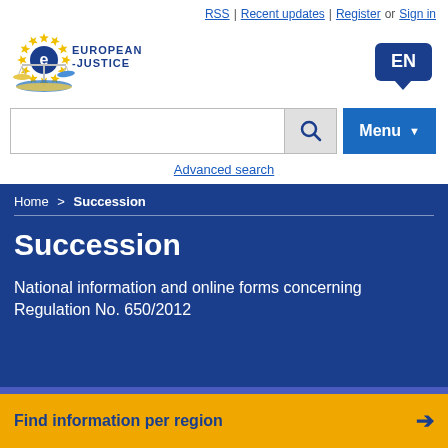RSS | Recent updates | Register or Sign in
[Figure (logo): e-Justice European Justice logo with scales of justice and EU stars]
EN (language selector button)
Search input with magnifying glass icon and Menu button
Advanced search
Home > Succession
Succession
National information and online forms concerning Regulation No. 650/2012
Find information per region